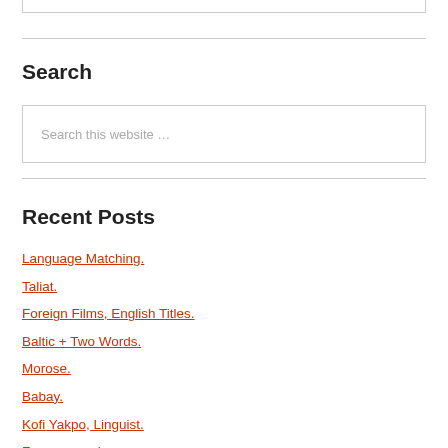Search
[Figure (other): Search input box with placeholder text 'Search this website …']
Recent Posts
Language Matching.
Taliat.
Foreign Films, English Titles.
Baltic + Two Words.
Morose.
Babay.
Kofi Yakpo, Linguist.
Faux raccord.